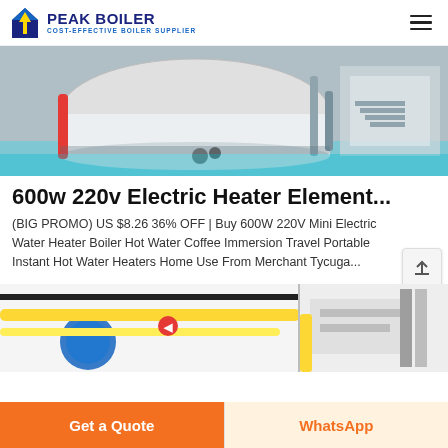PEAK BOILER — COST-EFFECTIVE BOILER SUPPLIER
[Figure (photo): Industrial boiler facility interior showing large cylindrical white boiler with red and silver piping, staircase, and teal/blue floor in industrial setting]
600w 220v Electric Heater Element...
(BIG PROMO) US $8.26 36% OFF | Buy 600W 220V Mini Electric Water Heater Boiler Hot Water Coffee Immersion Travel Portable Instant Hot Water Heaters Home Use From Merchant Tycuga...
[Figure (photo): Industrial boiler or heating equipment with yellow pipes and round blue vessel visible in factory setting]
Get a Quote
WhatsApp